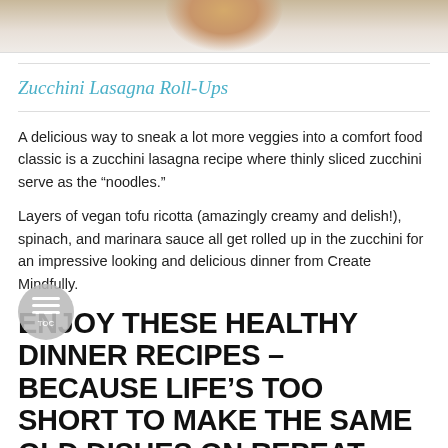[Figure (photo): Top portion of a food photo showing what appears to be a baked dish, cropped at the top of the page]
Zucchini Lasagna Roll-Ups
A delicious way to sneak a lot more veggies into a comfort food classic is a zucchini lasagna recipe where thinly sliced zucchini serve as the “noodles.”
Layers of vegan tofu ricotta (amazingly creamy and delish!), spinach, and marinara sauce all get rolled up in the zucchini for an impressive looking and delicious dinner from Create Mindfully.
ENJOY THESE HEALTHY DINNER RECIPES – BECAUSE LIFE’S TOO SHORT TO MAKE THE SAME OLD DISHES ON REPEAT